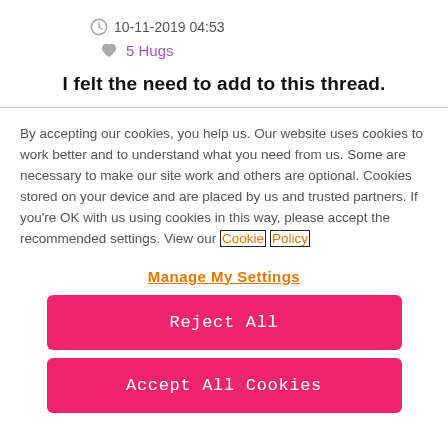10-11-2019 04:53
5 Hugs
I felt the need to add to this thread.
By accepting our cookies, you help us. Our website uses cookies to work better and to understand what you need from us. Some are necessary to make our site work and others are optional. Cookies stored on your device and are placed by us and trusted partners. If you're OK with us using cookies in this way, please accept the recommended settings. View our Cookie Policy
Manage My Settings
Reject All
Accept All Cookies